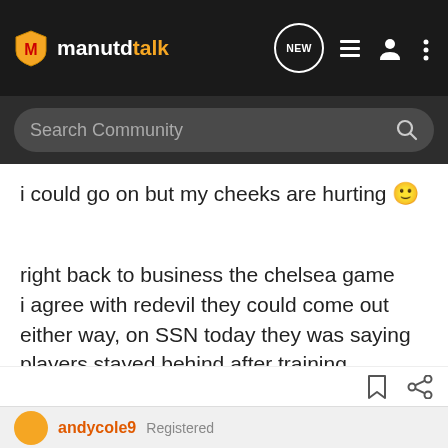manutdtalk
i could go on but my cheeks are hurting 🙂
right back to business the chelsea game
i agree with redevil they could come out either way, on SSN today they was saying players stayed behind after training practising attacking moves. oh please be true i would love them to come to OT and take the game to us, we would rip to them pieces. but they will prob come for the draw but i fully expect us to beat them sunday.
andycole9   Registered